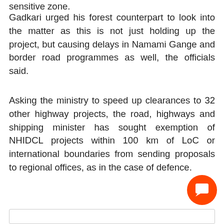sensitive zone.
Gadkari urged his forest counterpart to look into the matter as this is not just holding up the project, but causing delays in Namami Gange and border road programmes as well, the officials said.
Asking the ministry to speed up clearances to 32 other highway projects, the road, highways and shipping minister has sought exemption of NHIDCL projects within 100 km of LoC or international boundaries from sending proposals to regional offices, as in the case of defence.